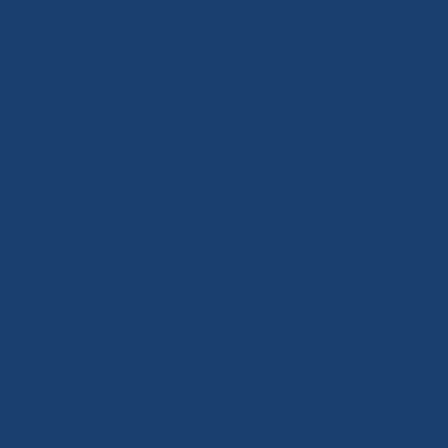the heat
[Figure (illustration): Green pentagon-shaped cartoon face avatar with white background box, showing a grimacing expression with grid-like teeth and oval eyes]
AlexVanderWoudeOctober 15,